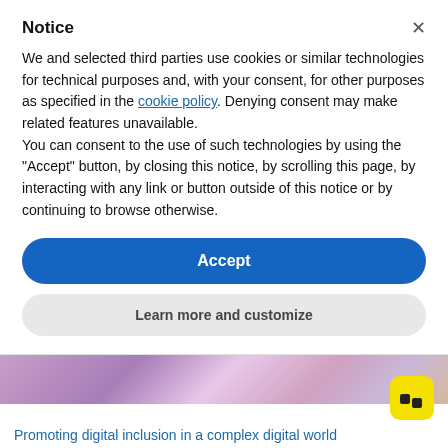Notice
We and selected third parties use cookies or similar technologies for technical purposes and, with your consent, for other purposes as specified in the cookie policy. Denying consent may make related features unavailable.
You can consent to the use of such technologies by using the "Accept" button, by closing this notice, by scrolling this page, by interacting with any link or button outside of this notice or by continuing to browse otherwise.
Accept
Learn more and customize
[Figure (photo): Close-up photo of purple/violet fabric or clothing, partially obscured by a yellow logo badge in the bottom right corner]
Promoting digital inclusion in a complex digital world
February 2020